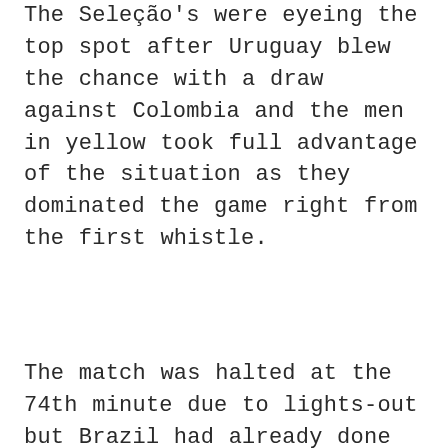The Seleção's were eyeing the top spot after Uruguay blew the chance with a draw against Colombia and the men in yellow took full advantage of the situation as they dominated the game right from the first whistle.
The match was halted at the 74th minute due to lights-out but Brazil had already done enough by